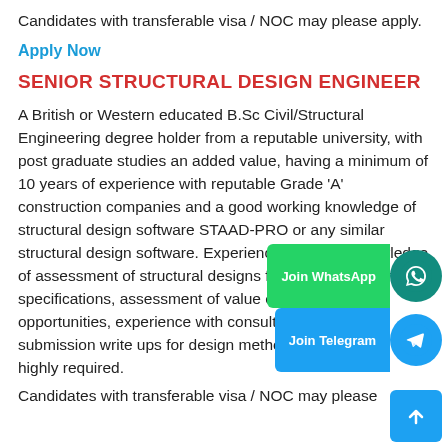Candidates with transferable visa / NOC may please apply.
Apply Now
SENIOR STRUCTURAL DESIGN ENGINEER
A British or Western educated B.Sc Civil/Structural Engineering degree holder from a reputable university, with post graduate studies an added value, having a minimum of 10 years of experience with reputable Grade ‘A’ construction companies and a good working knowledge of structural design software STAAD-PRO or any similar structural design software. Experience and good knowledge of assessment of structural designs from tender drawings & specifications, assessment of value engineering opportunities, experience with consultants and tender submission write ups for design methodology sections are highly required.
Candidates with transferable visa / NOC may please